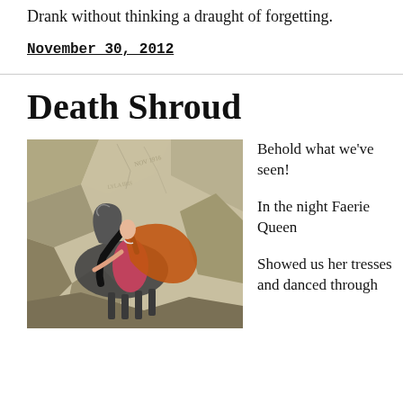Drank without thinking a draught of forgetting.
November 30, 2012
Death Shroud
[Figure (illustration): A fantasy illustration showing a woman in pink dress with flowing orange cape riding or falling from a dark horse amid rocky surroundings, in a watercolor/pen style reminiscent of Arthur Rackham.]
Behold what we've seen!

In the night Faerie Queen

Showed us her tresses and danced through